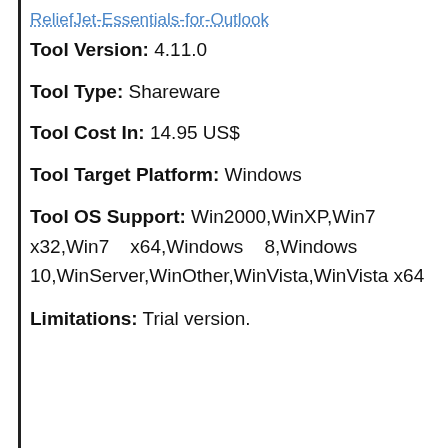ReliefJet-Essentials-for-Outlook
Tool Version: 4.11.0
Tool Type: Shareware
Tool Cost In: 14.95 US$
Tool Target Platform: Windows
Tool OS Support: Win2000,WinXP,Win7 x32,Win7 x64,Windows 8,Windows 10,WinServer,WinOther,WinVista,WinVista x64
Limitations: Trial version.